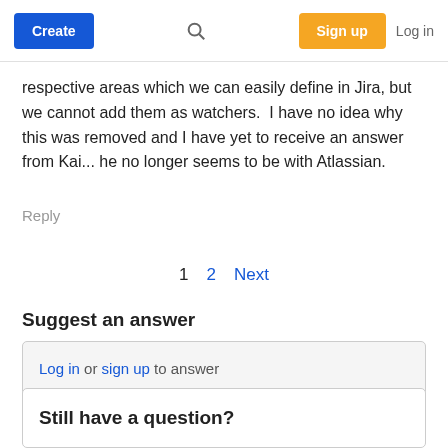Create | [search] | Sign up | Log in
respective areas which we can easily define in Jira, but we cannot add them as watchers.  I have no idea why this was removed and I have yet to receive an answer from Kai... he no longer seems to be with Atlassian.
Reply
1  2  Next
Suggest an answer
Log in or sign up to answer
Still have a question?